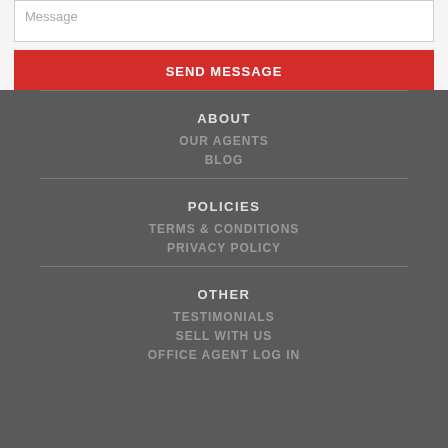Message
SEND MESSAGE
ABOUT
OUR AGENTS
BLOG
POLICIES
TERMS & CONDITIONS
PRIVACY POLICY
OTHER
TESTIMONIALS
SELL WITH US
OFFICE AGENT LOG IN